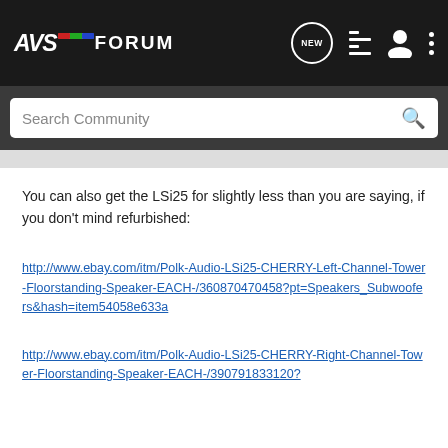AVS FORUM — navigation bar with logo, NEW, list, user, and menu icons
Search Community
You can also get the LSi25 for slightly less than you are saying, if you don't mind refurbished:
http://www.ebay.com/itm/Polk-Audio-LSi25-CHERRY-Left-Channel-Tower-Floorstanding-Speaker-EACH-/360870470458?pt=Speakers_Subwoofers&hash=item54058e633a
http://www.ebay.com/itm/Polk-Audio-LSi25-CHERRY-Right-Channel-Tower-Floorstanding-Speaker-EACH-/390791833120?